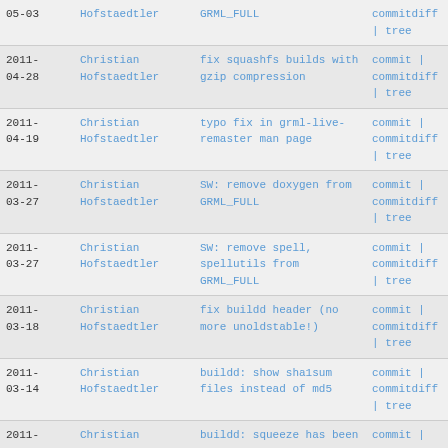| Date | Author | Message | Links |
| --- | --- | --- | --- |
| 05-03 | Hofstaedtler | GRML_FULL | commitdiff | tree |
| 2011-04-28 | Christian Hofstaedtler | fix squashfs builds with gzip compression | commit | commitdiff | tree |
| 2011-04-19 | Christian Hofstaedtler | typo fix in grml-live-remaster man page | commit | commitdiff | tree |
| 2011-03-27 | Christian Hofstaedtler | SW: remove doxygen from GRML_FULL | commit | commitdiff | tree |
| 2011-03-27 | Christian Hofstaedtler | SW: remove spell, spellutils from GRML_FULL | commit | commitdiff | tree |
| 2011-03-18 | Christian Hofstaedtler | fix buildd header (no more unoldstable!) | commit | commitdiff | tree |
| 2011-03-14 | Christian Hofstaedtler | buildd: show sha1sum files instead of md5 | commit | commitdiff | tree |
| 2011- | Christian | buildd: squeeze has been | commit | |